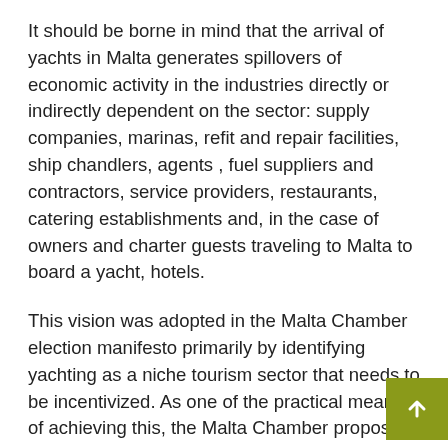It should be borne in mind that the arrival of yachts in Malta generates spillovers of economic activity in the industries directly or indirectly dependent on the sector: supply companies, marinas, refit and repair facilities, ship chandlers, agents , fuel suppliers and contractors, service providers, restaurants, catering establishments and, in the case of owners and charter guests traveling to Malta to board a yacht, hotels.
This vision was adopted in the Malta Chamber election manifesto primarily by identifying yachting as a niche tourism sector that needs to be incentivized. As one of the practical means of achieving this, the Malta Chamber proposes to treat the berthing and visiting of yachts in marinas in Malta in the same way as tourist accommodation insofar as the tourist VAT rate 7% should also apply to berthing services, agency fees, provisioning and preparation fees for yachts embarking on charter.
This must be seen in the wider context of ensuring continue